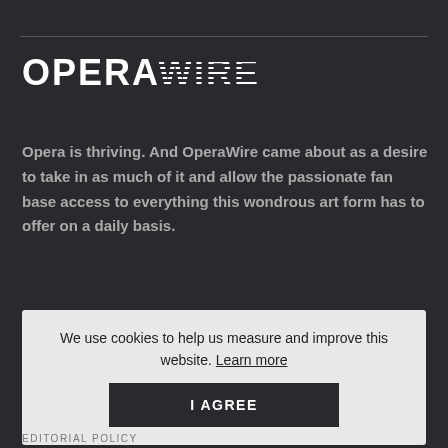OPERAWIRE
Opera is thriving. And OperaWire came about as a desire to take in as much of it and allow the passionate fan base access to everything this wondrous art form has to offer on a daily basis.
We use cookies to help us measure and improve this website. Learn more
I AGREE
EDITORIAL POLICY